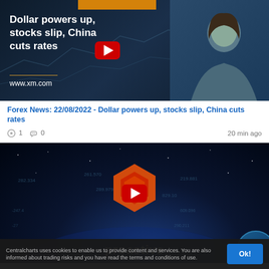[Figure (screenshot): Video thumbnail for XM forex news: dark background with woman presenter, text 'Dollar powers up, stocks slip, China cuts rates' and www.xm.com, with YouTube play button]
Forex News: 22/08/2022 - Dollar powers up, stocks slip, China cuts rates
1  0  20 min ago
[Figure (screenshot): Video thumbnail for Proactive: dark globe/earth background with Proactive hexagon logo in orange/red and YouTube play button, with 'proactive' text]
Centralcharts uses cookies to enable us to provide content and services. You are also informed about trading risks and you have read the terms and conditions of use.